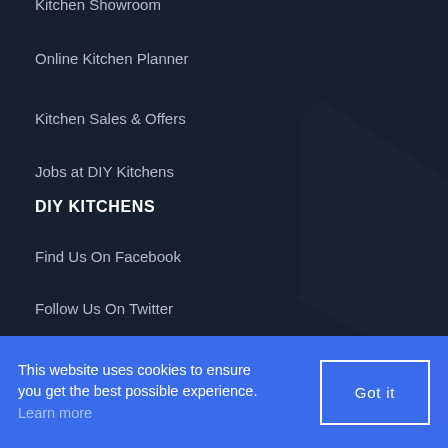Kitchen Showroom
Online Kitchen Planner
Kitchen Sales & Offers
Jobs at DIY Kitchens
DIY KITCHENS
Find Us On Facebook
Follow Us On Twitter
View Our YouTube Channel
This website uses cookies to ensure you get the best possible experience. Learn more
Got it